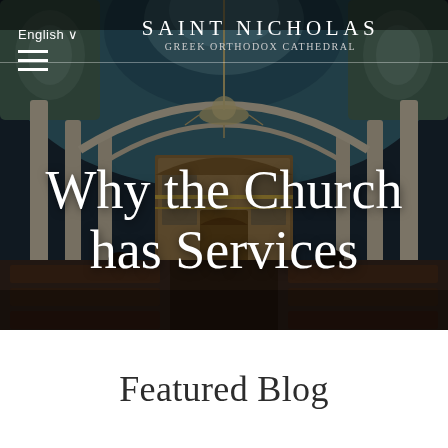English ∨   SAINT NICHOLAS GREEK ORTHODOX CATHEDRAL
[Figure (photo): Interior of Saint Nicholas Greek Orthodox Cathedral showing ornate Byzantine-style architecture, colorful frescoes, domed ceiling, chandelier, iconostasis, and wooden pews]
Why the Church has Services
Featured Blog